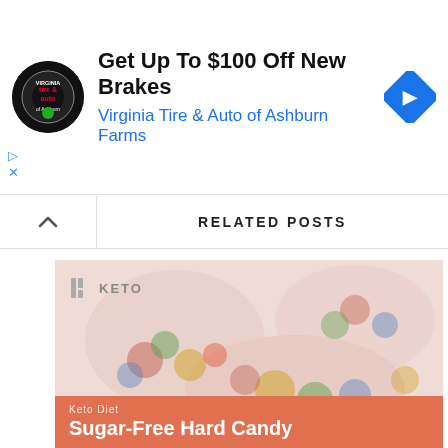[Figure (other): Advertisement banner for Virginia Tire & Auto of Ashburn Farms showing logo, headline 'Get Up To $100 Off New Brakes', subline 'Virginia Tire & Auto of Ashburn Farms', and a blue diamond navigation icon]
RELATED POSTS
[Figure (photo): Blurred photo of colorful candy (M&M-style) in bowls, with a keto logo overlay in top-left and an orange banner at bottom reading 'Keto Diet Sugar-Free Hard Candy']